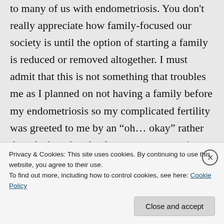to many of us with endometriosis. You don't really appreciate how family-focused our society is until the option of starting a family is reduced or removed altogether. I must admit that this is not something that troubles me as I planned on not having a family before my endometriosis so my complicated fertility was greeted to me by an “oh… okay” rather than the heartbreak a lot a women experience. I do find people’s
Privacy & Cookies: This site uses cookies. By continuing to use this website, you agree to their use.
To find out more, including how to control cookies, see here: Cookie Policy